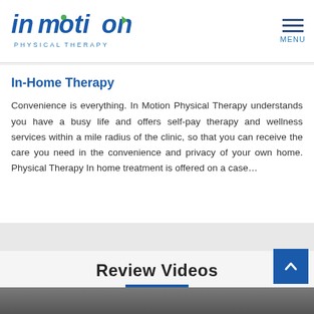In Motion Physical Therapy — MENU
In-Home Therapy
Convenience is everything. In Motion Physical Therapy understands you have a busy life and offers self-pay therapy and wellness services within a mile radius of the clinic, so that you can receive the care you need in the convenience and privacy of your own home. Physical Therapy In home treatment is offered on a case...
Review Videos
[Figure (screenshot): Bottom edge of a video thumbnail image partially visible at the bottom of the page]